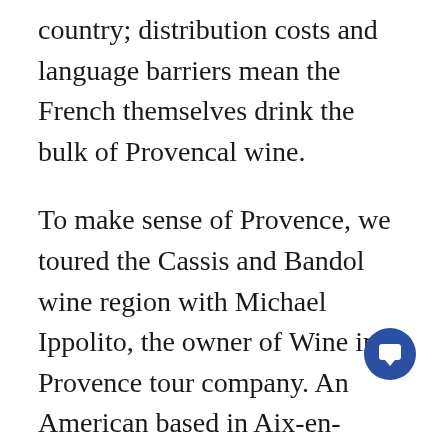country; distribution costs and language barriers mean the French themselves drink the bulk of Provencal wine.
To make sense of Provence, we toured the Cassis and Bandol wine region with Michael Ippolito, the owner of Wine in Provence tour company. An American based in Aix-en-Provence, Ippolito runs private wine tours for groups and individuals throughout the region, working with cruise passengers in Marseilles, Nice and Toulon. After a day that encompassed meetings with four winemakers, lunch and a stop at scenic Cap Canaille, the